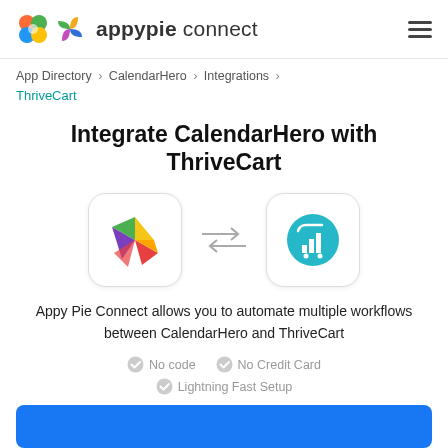appypie connect
App Directory > CalendarHero > Integrations > ThriveCart
Integrate CalendarHero with ThriveCart
[Figure (illustration): CalendarHero logo (colorful geometric pinwheel) and ThriveCart logo (teal circle with shopping cart bar chart icon) connected by bidirectional arrows]
Appy Pie Connect allows you to automate multiple workflows between CalendarHero and ThriveCart
No code
No Credit Card
Lightning Fast Setup